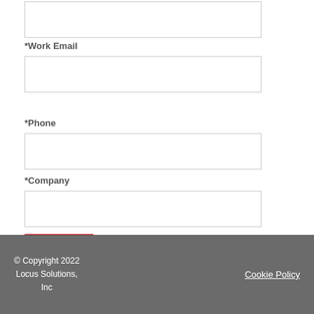*Last Name
*Work Email
*Phone
*Company
SUBMIT
© Copyright 2022 Locus Solutions, Inc    Cookie Policy